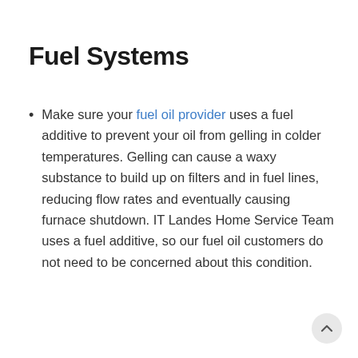Fuel Systems
Make sure your fuel oil provider uses a fuel additive to prevent your oil from gelling in colder temperatures. Gelling can cause a waxy substance to build up on filters and in fuel lines, reducing flow rates and eventually causing furnace shutdown. IT Landes Home Service Team uses a fuel additive, so our fuel oil customers do not need to be concerned about this condition.